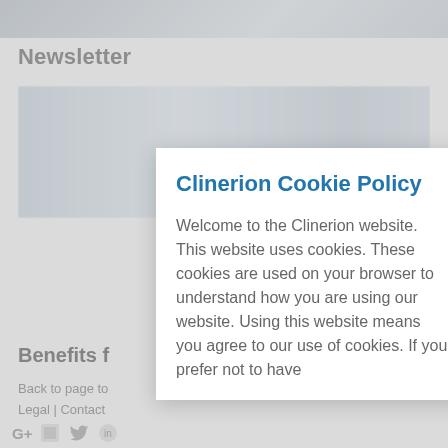[Figure (screenshot): Top blurred image strip showing a gray gradient background]
Newsletter
[Figure (photo): Blurred background photograph showing hands on a table, medical or office setting]
Benefits f
Back to page to
Legal | Contact
G+ [icon] [bird icon] [icon]
Clinerion Cookie Policy
Welcome to the Clinerion website. This website uses cookies. These cookies are used on your browser to understand how you are using our website. Using this website means you agree to our use of cookies. If you prefer not to have